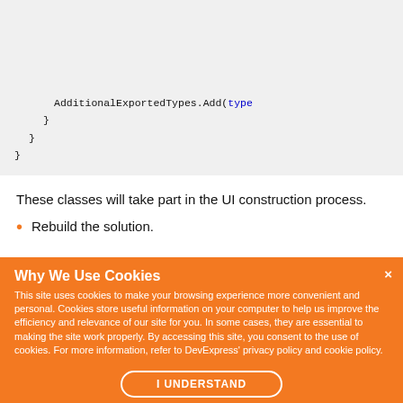[Figure (screenshot): Code block showing closing braces of a C# method. Line: AdditionalExportedTypes.Add(type followed by closing braces at various indentation levels.]
These classes will take part in the UI construction process.
Rebuild the solution.
Why We Use Cookies
This site uses cookies to make your browsing experience more convenient and personal. Cookies store useful information on your computer to help us improve the efficiency and relevance of our site for you. In some cases, they are essential to making the site work properly. By accessing this site, you consent to the use of cookies. For more information, refer to DevExpress' privacy policy and cookie policy.
I UNDERSTAND